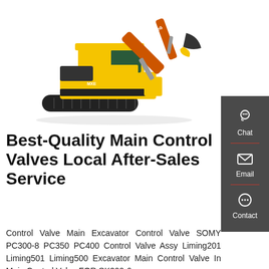[Figure (photo): Yellow and black crawler excavator (Sionyang brand) on white background, angled right with boom and bucket raised]
Best-Quality Main Control Valves Local After-Sales Service
Control Valve Main Excavator Control Valve SOMY PC300-8 PC350 PC400 Control Valve Assy Liming201 Liming501 Liming500 Excavator Main Control Valve In Main Control Valve FOR SK200-6